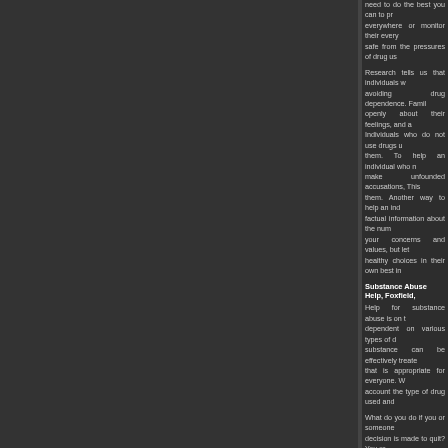need to do the best you can to protect them. You cannot be everywhere or monitor their every action, but you can help keep them safe from the pressures of drug use.
Research tells us that individuals who have strong family support are better at avoiding drug dependence. Families where members are encouraged to talk openly about their feelings, and are close and loving, are protective. Individuals who do not use drugs usually have family members who support them. To help an individual who may be using drugs, it is important to not make unfounded accusations, This can create defensiveness and push away them. Another way to help an individual in need is to provide them with factual information about the numerous dangers of drug use. You can share your concerns and values, but let them know that you want them to make healthy choices in their own best interest.
Substance Abuse Help, Foxfield,
Help for substance abuse is on the rise for people who have become dependent on various types of drugs and/or alcohol. Drug and alcohol substance can be effectively treated; however, there is no single treatment that is appropriate for everyone. What works for someone must take into account the type of drug used and
What do you do if you or someone you know has a problem with drugs and a decision is made to quit? You or your friend may be reluctant about getting help but are too embarrassed or scared, or you may be worried about getting in trouble. The good news is that you don't have to do it alone, friend. The best place to start is by talking to someone you trust. Doing this is one of the first steps in getting real help. Once you are committed to getting started, people who care will
Help For Drug Abuse, Foxfield, C
Getting help for drug abuse may be necessary for yourself, a family member, or for someone you care about. The impact of drug abuse extends beyond life. Their drug abuse often involves and affects many others through dysfunctional behaviors that can include family, friends, coworkers and the broader community. Witho